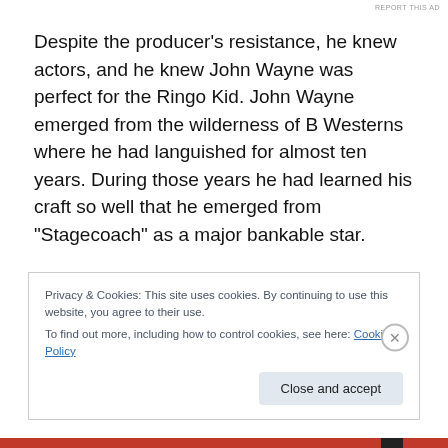REPORT THIS AD
Despite the producer’s resistance, he knew actors, and he knew John Wayne was perfect for the Ringo Kid. John Wayne emerged from the wilderness of B Westerns where he had languished for almost ten years. During those years he had learned his craft so well that he emerged from “Stagecoach” as a major bankable star.
The Duke’s performance in “Stagecoach” revealed what a master of reaction and body language he was. When Bert Glennon’s camera caught John Wayne in its lens, it was
Privacy & Cookies: This site uses cookies. By continuing to use this website, you agree to their use.
To find out more, including how to control cookies, see here: Cookie Policy
Close and accept